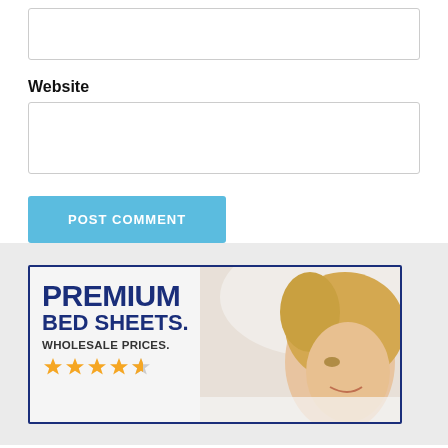[Figure (screenshot): Empty input text box (top, partially visible)]
Website
[Figure (screenshot): Empty website input text box]
[Figure (screenshot): POST COMMENT button in blue]
[Figure (advertisement): Ad banner: PREMIUM BED SHEETS. WHOLESALE PRICES. with 4.5 star rating and photo of woman on white sheets]